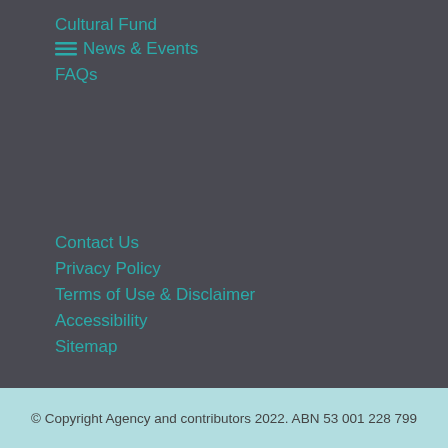Cultural Fund
News & Events
FAQs
Contact Us
Privacy Policy
Terms of Use & Disclaimer
Accessibility
Sitemap
[Figure (infographic): Five white circular social media icons on dark background: Facebook, Twitter, LinkedIn, YouTube, Instagram]
© Copyright Agency and contributors 2022. ABN 53 001 228 799